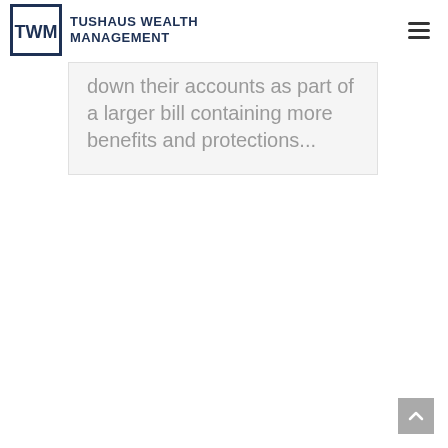Tushaus Wealth Management
down their accounts as part of a larger bill containing more benefits and protections...